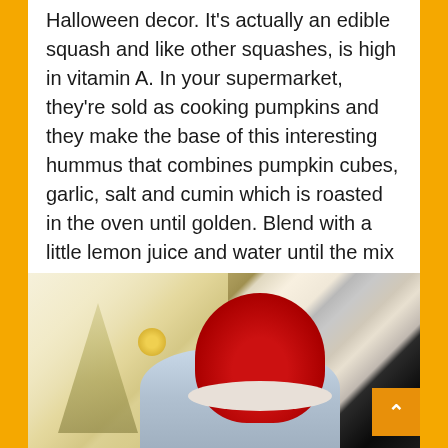Pumpkin is more than just pie and Halloween decor. It's actually an edible squash and like other squashes, is high in vitamin A. In your supermarket, they're sold as cooking pumpkins and they make the base of this interesting hummus that combines pumpkin cubes, garlic, salt and cumin which is roasted in the oven until golden. Blend with a little lemon juice and water until the mix is hummus consistency. The recipe makes two servings and counts as one Extra.
[Figure (photo): A person wearing a red Santa hat, viewed from behind, appearing to be wrapping gifts or working at a table. Christmas tree and golden ornaments visible in the background with warm light.]